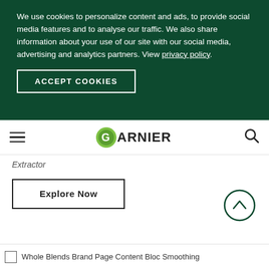We use cookies to personalize content and ads, to provide social media features and to analyse our traffic. We also share information about your use of our site with our social media, advertising and analytics partners. View privacy policy.
ACCEPT COOKIES
[Figure (logo): Garnier logo with green circle and black text]
Extractor
Explore Now
Whole Blends Brand Page Content Bloc Smoothing